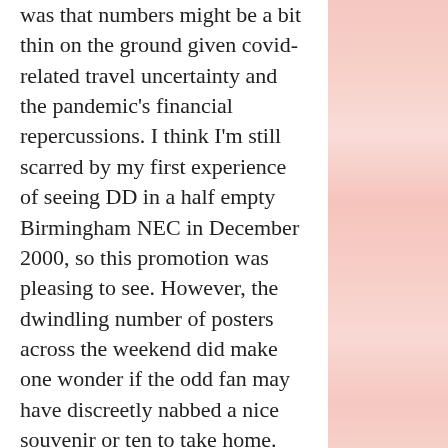was that numbers might be a bit thin on the ground given covid-related travel uncertainty and the pandemic's financial repercussions. I think I'm still scarred by my first experience of seeing DD in a half empty Birmingham NEC in December 2000, so this promotion was pleasing to see. However, the dwindling number of posters across the weekend did make one wonder if the odd fan may have discreetly nabbed a nice souvenir or ten to take home. And by discreetly, I mean yanking it off the wall and sprinting for dear life without looking back to see if the baton-wielding poster police were in pursuit. Some things in life are worth the risk.